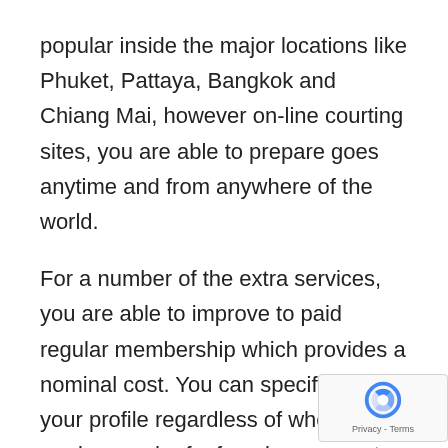popular inside the major locations like Phuket, Pattaya, Bangkok and Chiang Mai, however on-line courting sites, you are able to prepare goes anytime and from anywhere of the world.
For a number of the extra services, you are able to improve to paid regular membership which provides a nominal cost. You can specify inside your profile regardless of whether you are in search of a female or occur to be in search of ladyboys and the system is going to make it easier to with that.
Mainly because you'll be able to visualize, it's extremely rewarding for all those when without doubt one of Ladyboy members realizes a man to like and res…